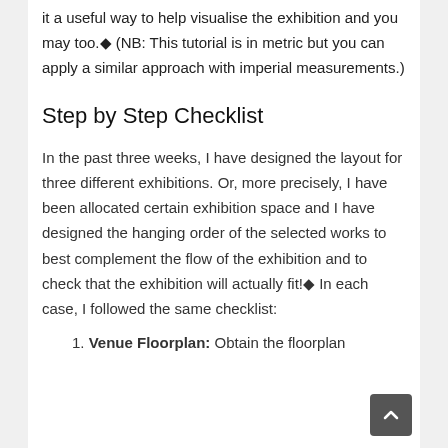it a useful way to help visualise the exhibition and you may too.◆ (NB: This tutorial is in metric but you can apply a similar approach with imperial measurements.)
Step by Step Checklist
In the past three weeks, I have designed the layout for three different exhibitions. Or, more precisely, I have been allocated certain exhibition space and I have designed the hanging order of the selected works to best complement the flow of the exhibition and to check that the exhibition will actually fit!◆ In each case, I followed the same checklist:
1. Venue Floorplan: Obtain the floorplan